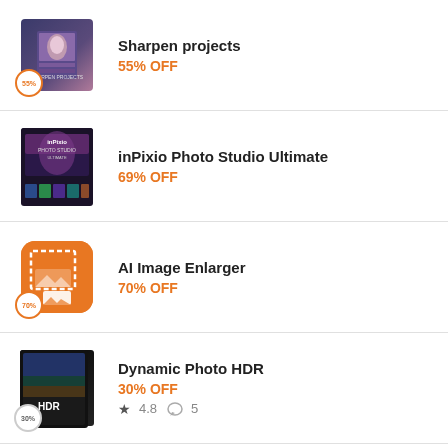[Figure (illustration): Sharpen projects software box with 55% badge]
Sharpen projects
55% OFF
[Figure (illustration): inPixio Photo Studio Ultimate software box with color strip]
inPixio Photo Studio Ultimate
69% OFF
[Figure (illustration): AI Image Enlarger orange app icon with 70% badge]
AI Image Enlarger
70% OFF
[Figure (illustration): Dynamic Photo HDR software box with 30% badge]
Dynamic Photo HDR
30% OFF
4.8  5